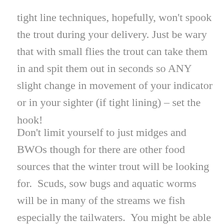tight line techniques, hopefully, won't spook the trout during your delivery. Just be wary that with small flies the trout can take them in and spit them out in seconds so ANY slight change in movement of your indicator or in your sighter (if tight lining) – set the hook!
Don't limit yourself to just midges and BWOs though for there are other food sources that the winter trout will be looking for.  Scuds, sow bugs and aquatic worms will be in many of the streams we fish especially the tailwaters.  You might be able to convince a winter trout to chase a minnow or leech imitation too.  So, make sure you carry a few of these flies to the water.